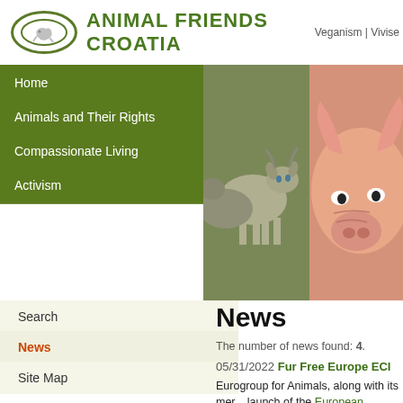Animal Friends Croatia — Veganism | Vivise...
Home
Animals and Their Rights
Compassionate Living
Activism
[Figure (photo): Close-up of goats and a pig, farm animals]
Search
News (active)
Site Map
News
The number of news found: 4.
05/31/2022 Fur Free Europe ECI
Eurogroup for Animals, along with its mer... launch of the European Citizens Initiative ... collect one million signatures to finally en... EU to ban fur farming and the placement ... unethical, unsafe and unsustainable. The... biodiversity, with some farmed species, li... from fur farms and are now considered In... impacts on European native wildlife. Anim... all to sign the petition. (www.eurogroupfo...
05/27/2022 Court Could Grant Happy T...